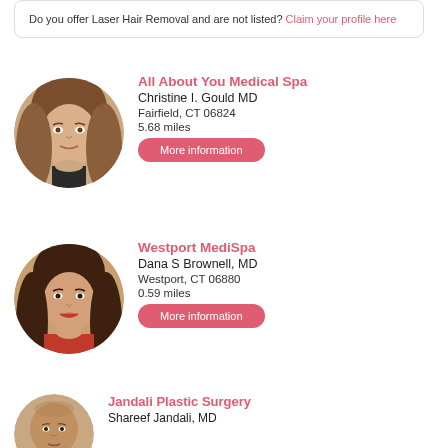Do you offer Laser Hair Removal and are not listed? Claim your profile here
All About You Medical Spa
Christine I. Gould MD
Fairfield, CT 06824
5.68 miles
More information
[Figure (photo): Circular portrait photo of Christine I. Gould MD, a middle-aged woman with long brown hair]
Westport MediSpa
Dana S Brownell, MD
Westport, CT 06880
0.59 miles
More information
[Figure (photo): Circular portrait photo of Dana S Brownell MD, a woman with long dark hair wearing a red outfit]
Jandali Plastic Surgery
Shareef Jandali, MD